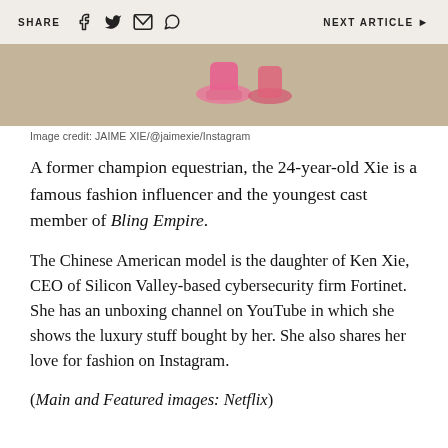SHARE  NEXT ARTICLE
[Figure (photo): Partial photo showing pink shoes on a beige/tan surface — cropped image at top of article]
Image credit: JAIME XIE/@jaimexie/Instagram
A former champion equestrian, the 24-year-old Xie is a famous fashion influencer and the youngest cast member of Bling Empire.
The Chinese American model is the daughter of Ken Xie, CEO of Silicon Valley-based cybersecurity firm Fortinet. She has an unboxing channel on YouTube in which she shows the luxury stuff bought by her. She also shares her love for fashion on Instagram.
(Main and Featured images: Netflix)